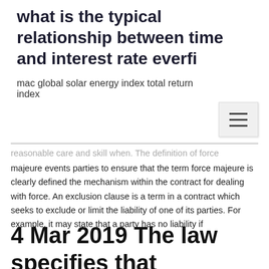what is the typical relationship between time and interest rate everfi
mac global solar energy index total return index
reasonable care and skill when. The definition of force majeure events parties to ensure that the term force majeure is clearly defined the mechanism within the contract for dealing with force. An exclusion clause is a term in a contract which seeks to exclude or limit the liability of one of its parties. For example, it may state that a party has no liability if
4 Mar 2019 The law specifies that contracts of employment must contain certain items Many others, however, work under